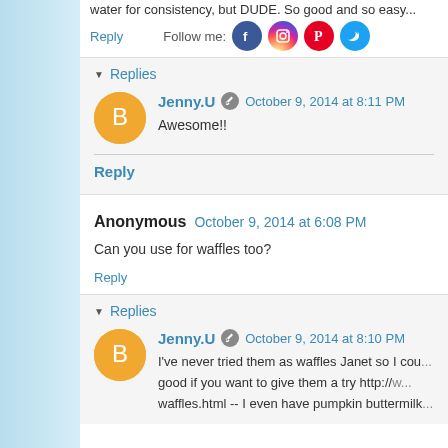water for consistency, but DUDE. So good and so easy...
Reply
Follow me:
Replies
Jenny.U  October 9, 2014 at 8:11 PM
Awesome!!
Reply
Anonymous  October 9, 2014 at 6:08 PM
Can you use for waffles too?
Reply
Replies
Jenny.U  October 9, 2014 at 8:10 PM
I've never tried them as waffles Janet so I cou... good if you want to give them a try http://w... waffles.html -- I even have pumpkin buttermilk...